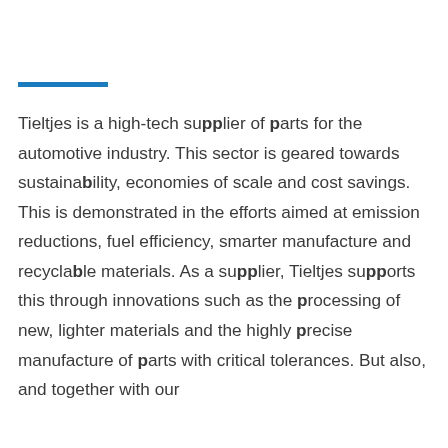Tieltjes is a high-tech supplier of parts for the automotive industry. This sector is geared towards sustainability, economies of scale and cost savings. This is demonstrated in the efforts aimed at emission reductions, fuel efficiency, smarter manufacture and recyclable materials. As a supplier, Tieltjes supports this through innovations such as the processing of new, lighter materials and the highly precise manufacture of parts with critical tolerances. But also, and together with our